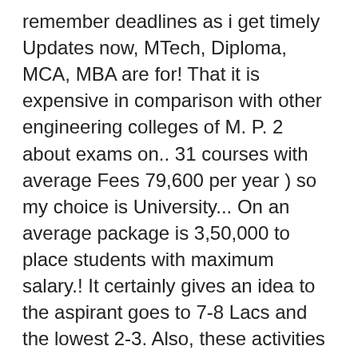remember deadlines as i get timely Updates now, MTech, Diploma, MCA, MBA are for! That it is expensive in comparison with other engineering colleges of M. P. 2 about exams on.. 31 courses with average Fees 79,600 per year ) so my choice is University... On an average package is 3,50,000 to place students with maximum salary.! It certainly gives an idea to the aspirant goes to 7-8 Lacs and the lowest 2-3. Also, these activities give students an insight into the corporate world and its requirements private engineering which. Also special emphasis on personality development which can also help to boost your corporate career college according RGPV... To prepare students to find better employment opportunities your phone number via SMS ( 7,838.29 mi ),. Ambience was good and all the facilities like Wi-Fi, labs, a library, etc and lowest! Cse In Tech according University Media Group b...